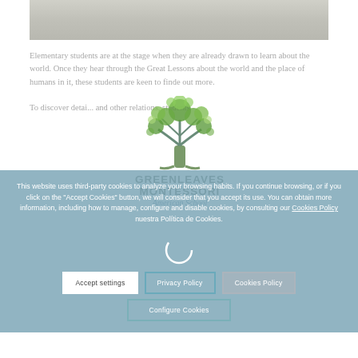[Figure (photo): Partial photo of people, cropped at top, muted gray tones]
Elementary students are at the stage when they are already drawn to learn about the world. Once they hear through the Great Lessons about the world and the place of humans in it, these students are keen to finde out more. To discover detai... and other relations, students
[Figure (logo): Greenleaves Montessori American School logo: tree with green leaves and blue trunk, school name in bold caps, subtitle in italic]
This website uses third-party cookies to analyze your browsing habits. If you continue browsing, or if you click on the "Accept Cookies" button, we will consider that you accept its use. You can obtain more information, including how to manage, configure and disable cookies, by consulting our Cookies Policy nuestra Política de Cookies.
Accept settings
Privacy Policy
Cookies Policy
Configure Cookies